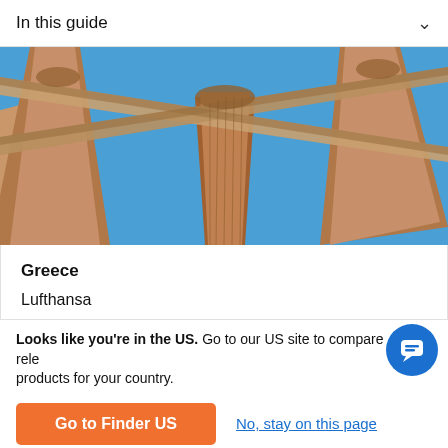In this guide
[Figure (photo): Upward-looking view of ancient Greek stone columns (Corinthian capitals) against a bright blue sky, taken from below looking up at the entablature.]
Greece
Lufthansa
Looks like you're in the US. Go to our US site to compare relevant products for your country.
Go to Finder US
No, stay on this page